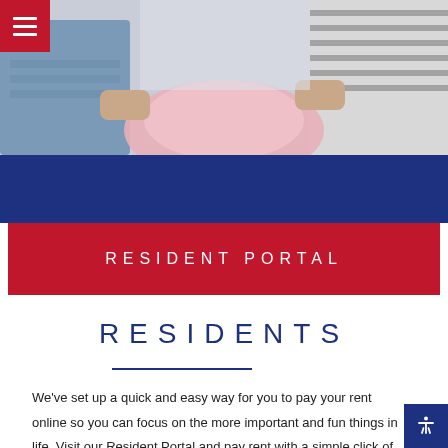[Figure (photo): Two people folding laundry or handling clothes indoors; one in a striped top, one in a denim shirt.]
RESIDENT PORTAL
RESIDENTS
We've set up a quick and easy way for you to pay your rent online so you can focus on the more important and fun things in life. Visit our Resident Portal and pay rent with a simple click of the button.